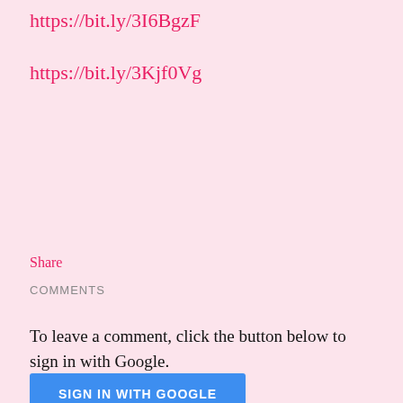https://bit.ly/3I6BgzF
https://bit.ly/3Kjf0Vg
Share
COMMENTS
To leave a comment, click the button below to sign in with Google.
SIGN IN WITH GOOGLE